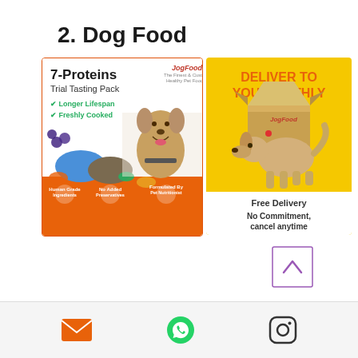2. Dog Food
[Figure (photo): Left product image: Dog food 7-Proteins Trial Tasting Pack with orange packaging showing a beagle dog, food bowls, and vegetables. Text includes Longer Lifespan, Freshly Cooked, Human Grade Ingredients, No Added Preservatives, Formulated By Pet Nutritionist.]
[Figure (photo): Right product image: Yellow background with a dog sniffing a cardboard box. Text reads DELIVER TO YOU MONTHLY in orange, with JogFood branding, Free Delivery, No Commitment, cancel anytime.]
[Figure (other): Scroll to top button with purple upward chevron inside a square border]
[Figure (other): Footer bar with email icon, WhatsApp icon, and Instagram icon]